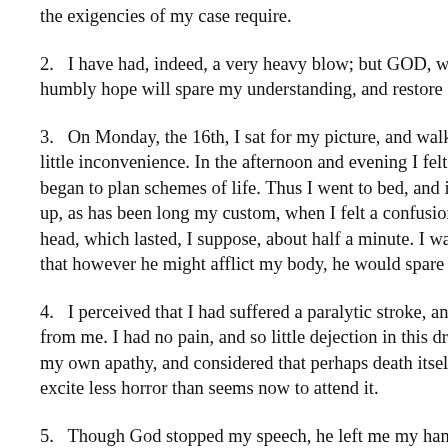the exigencies of my case require.
2.   I have had, indeed, a very heavy blow; but GOD, who yet s humbly hope will spare my understanding, and restore my spee
3.   On Monday, the 16th, I sat for my picture, and walked a co little inconvenience. In the afternoon and evening I felt myself began to plan schemes of life. Thus I went to bed, and in a sho up, as has been long my custom, when I felt a confusion and in head, which lasted, I suppose, about half a minute. I was alarm that however he might afflict my body, he would spare my und
4.   I perceived that I had suffered a paralytic stroke, and that m from me. I had no pain, and so little dejection in this dreadful s my own apathy, and considered that perhaps death itself, when excite less horror than seems now to attend it.
5.   Though God stopped my speech, he left me my hand.
6.   I then wrote a card to Mr. Allen....In penning this note, I ha hand, I knew not how nor why, made wrong letters.
7.   I have so far recovered my vocal powers, as to repeat the